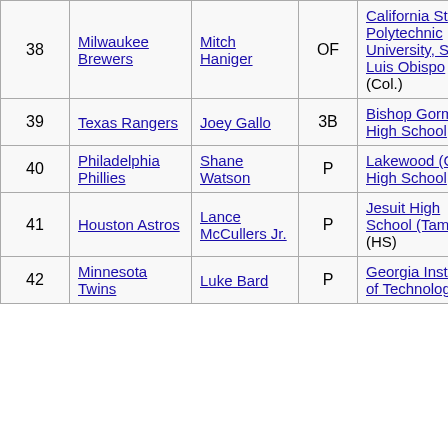| # | Team | Player | Pos | School | Hometown |
| --- | --- | --- | --- | --- | --- |
| 38 | Milwaukee Brewers | Mitch Haniger | OF | California State Polytechnic University, San Luis Obispo (Col.) | Santa Clara, CA |
| 39 | Texas Rangers | Joey Gallo | 3B | Bishop Gorman High School (HS) |  |
| 40 | Philadelphia Phillies | Shane Watson | P | Lakewood (CA) High School (HS) |  |
| 41 | Houston Astros | Lance McCullers Jr. | P | Jesuit High School (Tampa) (HS) |  |
| 42 | Minnesota Twins | Luke Bard | P | Georgia Institute of Technology |  |